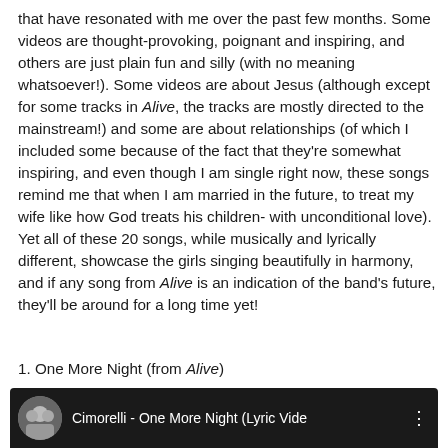that have resonated with me over the past few months. Some videos are thought-provoking, poignant and inspiring, and others are just plain fun and silly (with no meaning whatsoever!). Some videos are about Jesus (although except for some tracks in Alive, the tracks are mostly directed to the mainstream!) and some are about relationships (of which I included some because of the fact that they're somewhat inspiring, and even though I am single right now, these songs remind me that when I am married in the future, to treat my wife like how God treats his children- with unconditional love). Yet all of these 20 songs, while musically and lyrically different, showcase the girls singing beautifully in harmony, and if any song from Alive is an indication of the band's future, they'll be around for a long time yet!
1. One More Night (from Alive)
[Figure (screenshot): Video thumbnail showing Cimorelli - One More Night (Lyric Vide... with avatar of group photo on dark background]